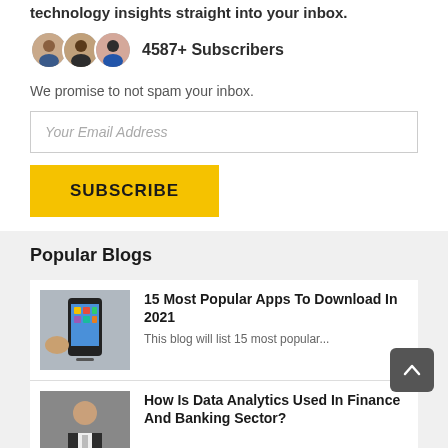technology insights straight into your inbox.
4587+ Subscribers
We promise to not spam your inbox.
Your Email Address
SUBSCRIBE
Popular Blogs
15 Most Popular Apps To Download In 2021
This blog will list 15 most popular...
How Is Data Analytics Used In Finance And Banking Sector?